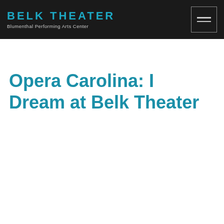[Figure (logo): Belk Theater – Blumenthal Performing Arts Center logo on black header bar with hamburger menu icon]
Opera Carolina: I Dream at Belk Theater